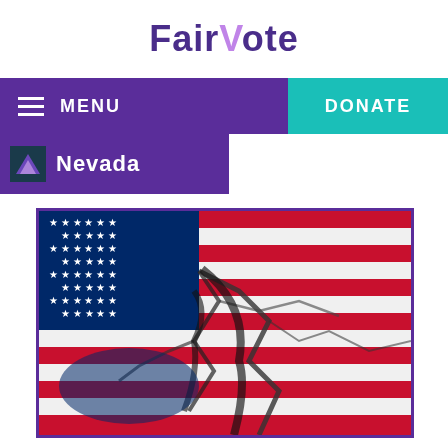FairVote
[Figure (screenshot): Navigation bar with hamburger menu icon, MENU text, and DONATE button]
[Figure (screenshot): Nevada state banner with FairVote logo mark and Nevada label]
[Figure (photo): Cracked American flag image with red, white, and blue colors and visible cracks running through the surface]